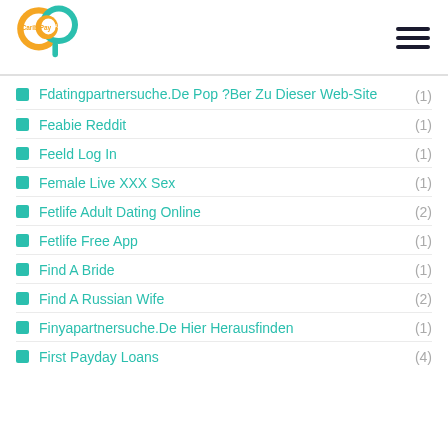[Figure (logo): Carib Pay App logo - orange and teal circular CP letters with text]
Fdatingpartnersuche.De Pop ?Ber Zu Dieser Web-Site (1)
Feabie Reddit (1)
Feeld Log In (1)
Female Live XXX Sex (1)
Fetlife Adult Dating Online (2)
Fetlife Free App (1)
Find A Bride (1)
Find A Russian Wife (2)
Finyapartnersuche.De Hier Herausfinden (1)
First Payday Loans (4)